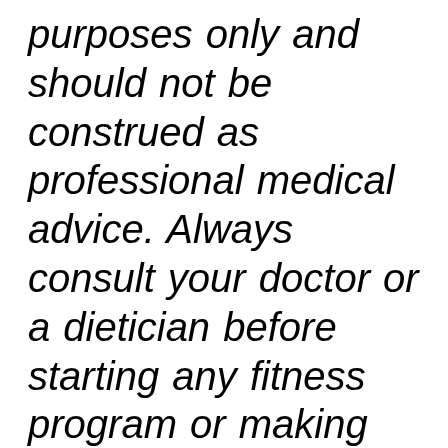purposes only and should not be construed as professional medical advice. Always consult your doctor or a dietician before starting any fitness program or making any changes to your diet.